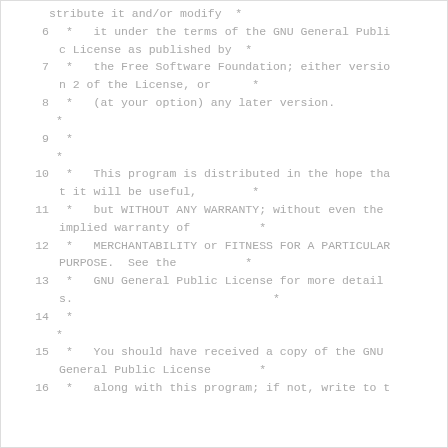stribute it and/or modify  *
 6  *   it under the terms of the GNU General Public License as published by  *
 7  *   the Free Software Foundation; either version 2 of the License, or      *
 8  *   (at your option) any later version.
    *
 9  *
    *
10  *   This program is distributed in the hope that it will be useful,        *
11  *   but WITHOUT ANY WARRANTY; without even the implied warranty of          *
12  *   MERCHANTABILITY or FITNESS FOR A PARTICULAR PURPOSE.  See the           *
13  *   GNU General Public License for more detail s.                           *
14  *
    *
15  *   You should have received a copy of the GNU General Public License       *
16  *   along with this program; if not, write to t